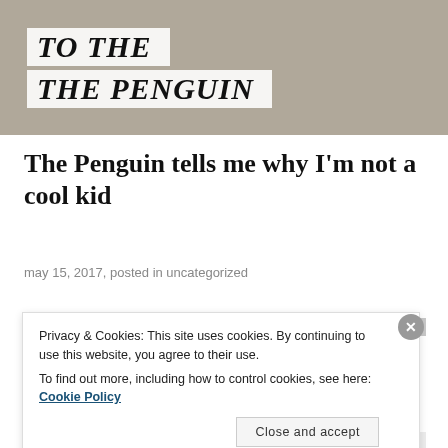[Figure (photo): Hero image showing text overlays 'TO THE' and 'THE PENGUIN' in large bold italic serif font on a semi-transparent white background, over a muted background photo of a person on the ground.]
The Penguin tells me why I'm not a cool kid
may 15, 2017, posted in uncategorized
Privacy & Cookies: This site uses cookies. By continuing to use this website, you agree to their use.
To find out more, including how to control cookies, see here: Cookie Policy
Close and accept